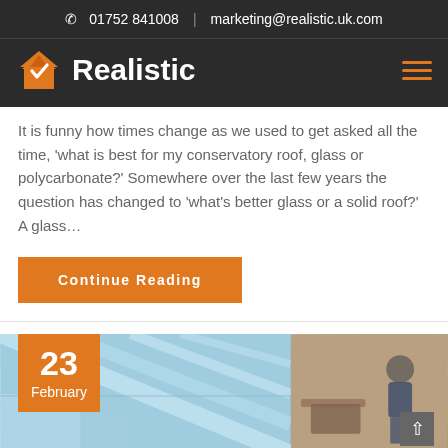01752 841008 | marketing@realistic.uk.com
[Figure (logo): Realistic company logo with orange house icon and white bold text 'Realistic' on dark background, with hamburger menu icon on the right]
It is funny how times change as we used to get asked all the time, 'what is best for my conservatory roof, glass or polycarbonate?' Somewhere over the last few years the question has changed to 'what's better glass or a solid roof?' A glass…
Continue Reading
[Figure (photo): Blog post thumbnail showing conservatory glass roof and a person outside, with orange date badge showing '23 February']